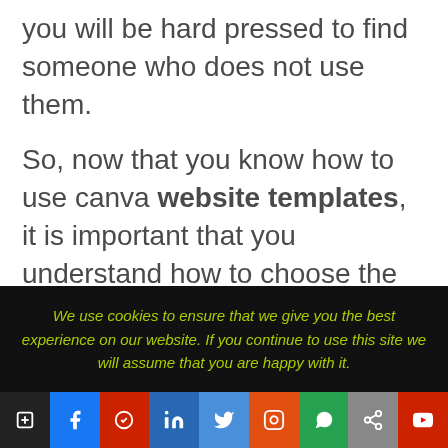you will be hard pressed to find someone who does not use them.

So, now that you know how to use canva website templates, it is important that you understand how to choose the right template. There are quite a few different templates that you can choose from, and you will want to make sure
We use cookies to ensure that we give you the best experience on our website. If you continue to use this site we will assume that you are happy with it.
[Social share buttons bar]